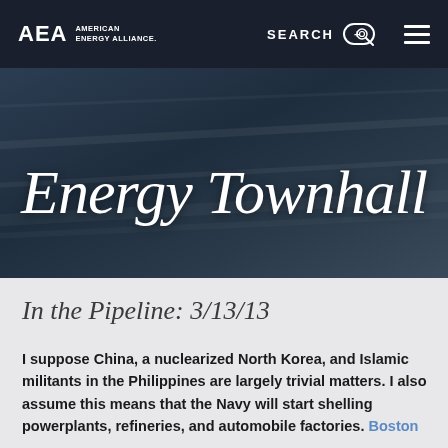AEA AMERICAN ENERGY ALLIANCE. SEARCH ☰
[Figure (screenshot): Hero banner with dark blue-gray textured background showing the text 'Energy Townhall' in white italic script font]
In the Pipeline: 3/13/13
I suppose China, a nuclearized North Korea, and Islamic militants in the Philippines are largely trivial matters. I also assume this means that the Navy will start shelling powerplants, refineries, and automobile factories. Boston